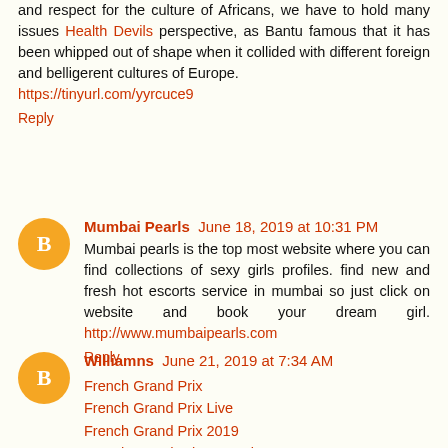and respect for the culture of Africans, we have to hold many issues Health Devils perspective, as Bantu famous that it has been whipped out of shape when it collided with different foreign and belligerent cultures of Europe. https://tinyurl.com/yyrcuce9
Reply
Mumbai Pearls  June 18, 2019 at 10:31 PM
Mumbai pearls is the top most website where you can find collections of sexy girls profiles. find new and fresh hot escorts service in mumbai so just click on website and book your dream girl. http://www.mumbaipearls.com
Reply
Williamns  June 21, 2019 at 7:34 AM
French Grand Prix
French Grand Prix Live
French Grand Prix 2019
French Grand Prix 2019 Li...